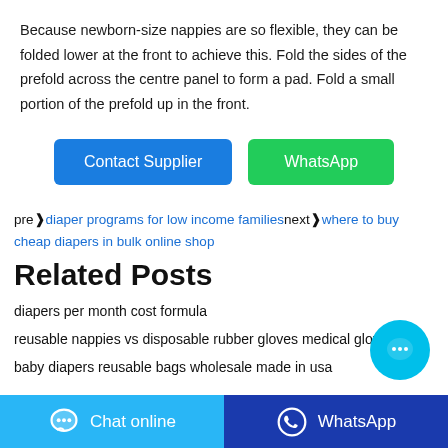Because newborn-size nappies are so flexible, they can be folded lower at the front to achieve this. Fold the sides of the prefold across the centre panel to form a pad. Fold a small portion of the prefold up in the front.
[Figure (other): Two buttons: a blue 'Contact Supplier' button and a green 'WhatsApp' button]
pre❱diaper programs for low income familiesnext❱where to buy cheap diapers in bulk online shop
Related Posts
diapers per month cost formula
reusable nappies vs disposable rubber gloves medical gloves
baby diapers reusable bags wholesale made in usa
[Figure (other): Floating chat bubble button (cyan circle with chat dots icon)]
Chat online | WhatsApp